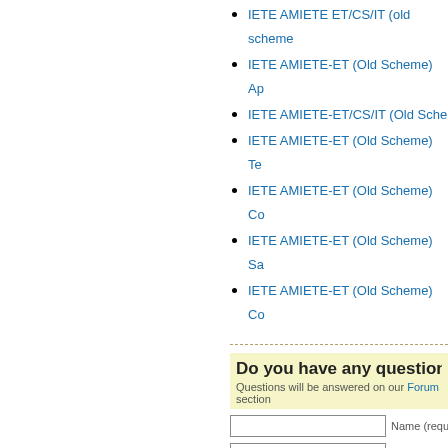IETE AMIETE ET/CS/IT (old scheme)
IETE AMIETE-ET (Old Scheme) Ap
IETE AMIETE-ET/CS/IT (Old Scheme)
IETE AMIETE-ET (Old Scheme) Te
IETE AMIETE-ET (Old Scheme) Co
IETE AMIETE-ET (Old Scheme) Sa
IETE AMIETE-ET (Old Scheme) Co
Do you have any question? Pl
Questions will be answered on our Forum section
Name (required)
Mail (will not be p
type h
Submit Question